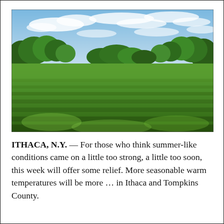[Figure (photo): Outdoor photograph of a wide green field or meadow under a partly cloudy blue sky. Trees line the background on both sides. The grass is lush and bright green, suggesting late spring or early summer.]
ITHACA, N.Y. — For those who think summer-like conditions came on a little too strong, a little too soon, this week will offer some relief. More seasonable warm temperatures will be more … in Ithaca and Tompkins County.